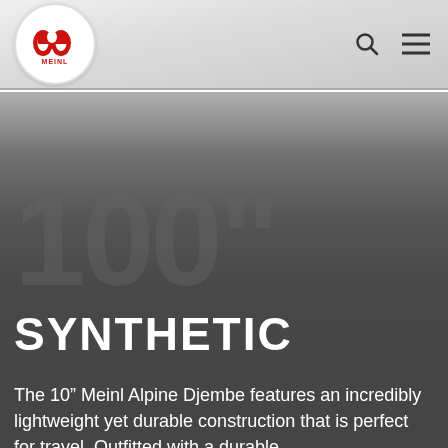[Figure (logo): Meinl logo — red double-M symbol inside a white circle, with MEINL text in red]
SYNTHETIC
The 10” Meinl Alpine Djembe features an incredibly lightweight yet durable construction that is perfect for travel. Outfitted with a durable